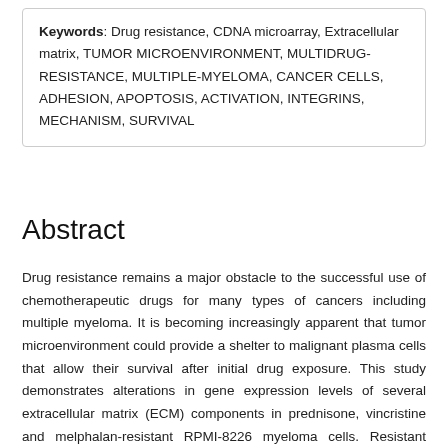Keywords: Drug resistance, CDNA microarray, Extracellular matrix, TUMOR MICROENVIRONMENT, MULTIDRUG-RESISTANCE, MULTIPLE-MYELOMA, CANCER CELLS, ADHESION, APOPTOSIS, ACTIVATION, INTEGRINS, MECHANISM, SURVIVAL
Abstract
Drug resistance remains a major obstacle to the successful use of chemotherapeutic drugs for many types of cancers including multiple myeloma. It is becoming increasingly apparent that tumor microenvironment could provide a shelter to malignant plasma cells that allow their survival after initial drug exposure. This study demonstrates alterations in gene expression levels of several extracellular matrix (ECM) components in prednisone, vincristine and melphalan-resistant RPMI-8226 myeloma cells. Resistant RPMI-8226 cells were developed through stepwise selection of cells by increasing concentrations of drugs. Microarray analysis was carried out and genes up-or downregulated more than two-folds were